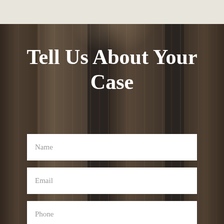Tell Us About Your Case
Name
Email
Phone
Brief description of your legal issue.